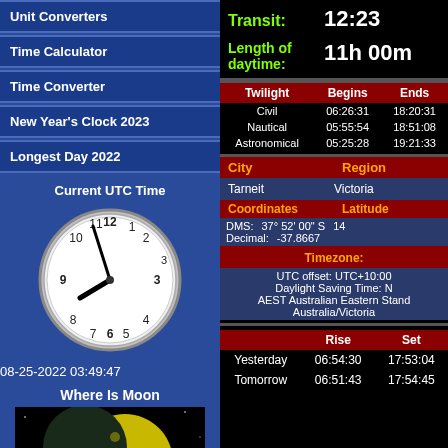Unit Converters
Time Calculator
Time Converter
New Year's Clock 2023
Longest Day 2022
Current UTC Time
[Figure (illustration): Analog clock showing approximately 8:43, with date/time 08-25-2022 03:49:47]
08-25-2022 03:49:47
Where Is Moon
[Figure (photo): Moon image showing crescent moon with Earth visible in background against black space]
Transit: 12:23
Length of daytime: 11h 00m
| Twilight | Begins | Ends |
| --- | --- | --- |
| Civil | 06:26:31 | 18:20:31 |
| Nautical | 05:55:54 | 18:51:08 |
| Astronomical | 05:25:28 | 19:21:33 |
| City | Region |
| --- | --- |
| Tarneit | Victoria |
| Coordinates | Latitude |
| --- | --- |
| DMS: | 37° 52' 00" S |
| Decimal: | -37.8667 |
Timezone: UTC offset: UTC+10:00 Daylight Saving Time: N AEST Australian Eastern Stand Australia/Victoria
|  | Rise | Set |
| --- | --- | --- |
| Yesterday | 06:54:30 | 17:53:04 |
| Tomorrow | 06:51:43 | 17:54:45 |